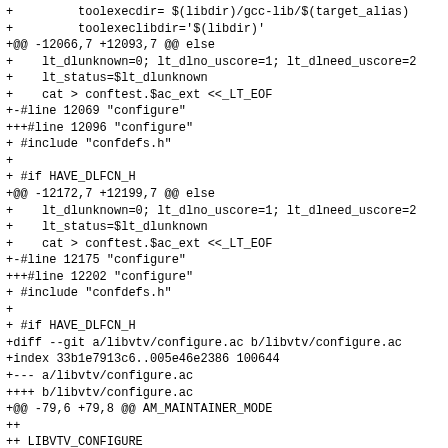+         toolexecdir= $(libdir)/gcc-lib/$(target_alias)
+         toolexeclibdir='$(libdir)'
+@@ -12066,7 +12093,7 @@ else
+    lt_dlunknown=0; lt_dlno_uscore=1; lt_dlneed_uscore=2
+    lt_status=$lt_dlunknown
+    cat > conftest.$ac_ext <<_LT_EOF
+-#line 12069 "configure"
+++#line 12096 "configure"
+ #include "confdefs.h"
+
+ #if HAVE_DLFCN_H
+@@ -12172,7 +12199,7 @@ else
+    lt_dlunknown=0; lt_dlno_uscore=1; lt_dlneed_uscore=2
+    lt_status=$lt_dlunknown
+    cat > conftest.$ac_ext <<_LT_EOF
+-#line 12175 "configure"
+++#line 12202 "configure"
+ #include "confdefs.h"
+
+ #if HAVE_DLFCN_H
+diff --git a/libvtv/configure.ac b/libvtv/configure.ac
+index 33b1e7913c6..005e46e2386 100644
+--- a/libvtv/configure.ac
++++ b/libvtv/configure.ac
+@@ -79,6 +79,8 @@ AM_MAINTAINER_MODE
++
++ LIBVTV_CONFIGURE
++
+++GCC_WITH_TOOLEXECLIBDIR
+++
++# Select stack smashing protection